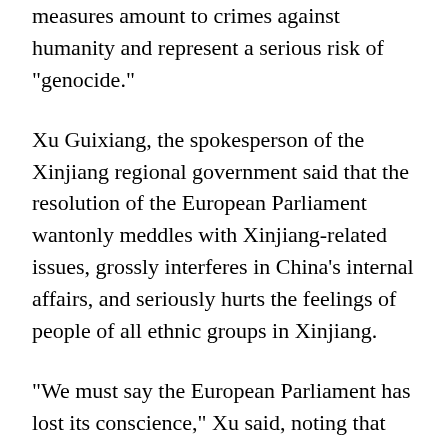measures amount to crimes against humanity and represent a serious risk of "genocide."
Xu Guixiang, the spokesperson of the Xinjiang regional government said that the resolution of the European Parliament wantonly meddles with Xinjiang-related issues, grossly interferes in China's internal affairs, and seriously hurts the feelings of people of all ethnic groups in Xinjiang.
"We must say the European Parliament has lost its conscience," Xu said, noting that the European Parliament has not taken into account the real situation of respecting and protecting human rights in Xinjiang at all, but instead stands on the position of "containing China with Xinjiang-related issues" and spares no effort in slinging mud at Xinjiang.